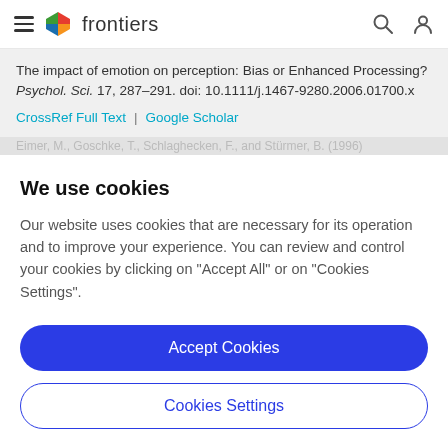frontiers
The impact of emotion on perception: Bias or Enhanced Processing? Psychol. Sci. 17, 287–291. doi: 10.1111/j.1467-9280.2006.01700.x
CrossRef Full Text | Google Scholar
We use cookies
Our website uses cookies that are necessary for its operation and to improve your experience. You can review and control your cookies by clicking on "Accept All" or on "Cookies Settings".
Accept Cookies
Cookies Settings